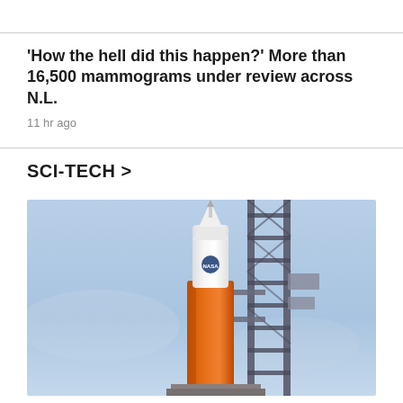'How the hell did this happen?' More than 16,500 mammograms under review across N.L.
11 hr ago
SCI-TECH >
[Figure (photo): A NASA rocket on a launch pad against a blue sky, showing a white rocket capsule on top of an orange booster, surrounded by a metal launch structure]